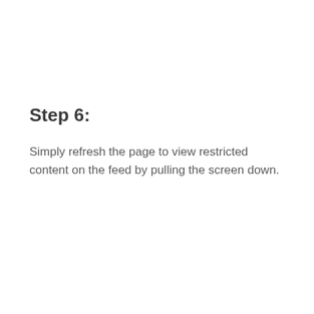Step 6:
Simply refresh the page to view restricted content on the feed by pulling the screen down.